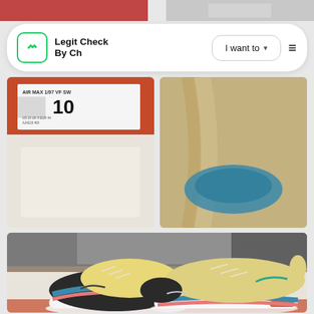[Figure (photo): Partial view of two photos at the top — left shows a red Nike shoe box, right shows a light-colored fabric or shoe interior]
[Figure (logo): Legit Check By Ch logo — green diamond icon with white chevrons on a white rounded rectangle navbar, with 'I want to' dropdown button and hamburger menu]
[Figure (photo): Left: Nike Air Max 1/97 VF SW shoe box label showing size 10, model AJ4219 400, on red box. Right: Close-up of sneaker interior with blue and tan/gold fabric]
[Figure (photo): Large photo of a pair of Nike Air Max 1/97 Sean Wotherspoon sneakers in yellow/cream, blue, pink, and dark grey colorway, displayed on a white surface with box in background]